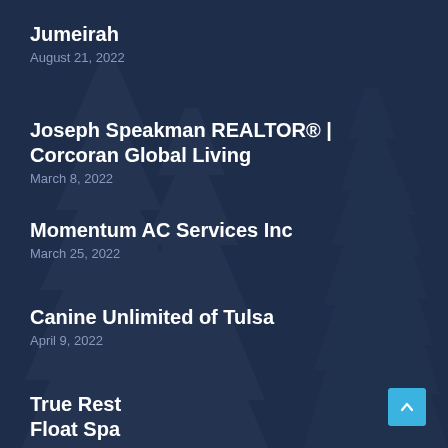Jumeirah
August 21, 2022
Joseph Speakman REALTOR® | Corcoran Global Living
March 8, 2022
Momentum AC Services Inc
March 25, 2022
Canine Unlimited of Tulsa
April 9, 2022
True Rest Float Spa
September 2, 2021